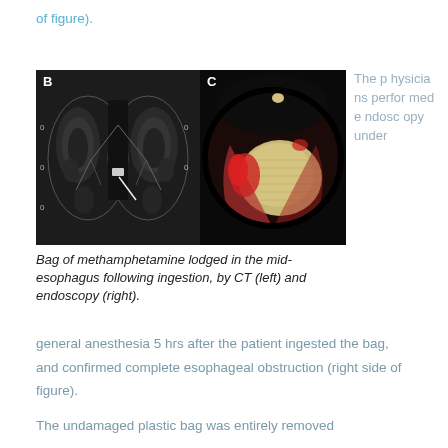of figure).
[Figure (photo): Panel B: CT scan showing a bag of methamphetamine lodged in the mid-esophagus. Panel C: Endoscopy image showing the bag lodged in the esophagus with red tissue visible.]
Bag of methamphetamine lodged in the mid-esophagus following ingestion, by CT (left) and endoscopy (right).
The physicians performed endoscopy under general anesthesia 5 hrs after the patient ingested the bag, and confirmed complete esophageal obstruction (right side of figure).
The undamaged plastic bag was entirely removed